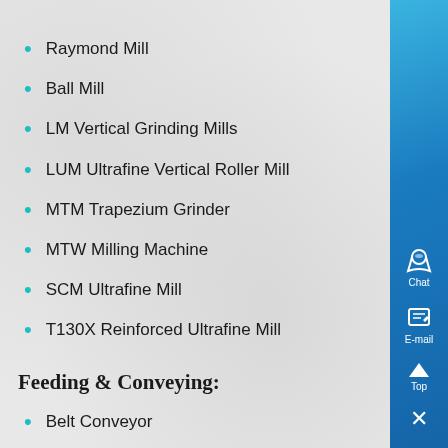Raymond Mill
Ball Mill
LM Vertical Grinding Mills
LUM Ultrafine Vertical Roller Mill
MTM Trapezium Grinder
MTW Milling Machine
SCM Ultrafine Mill
T130X Reinforced Ultrafine Mill
Feeding & Conveying:
Belt Conveyor
BWZ Heavy Duty Apron Feeder
Vibrating Feeder